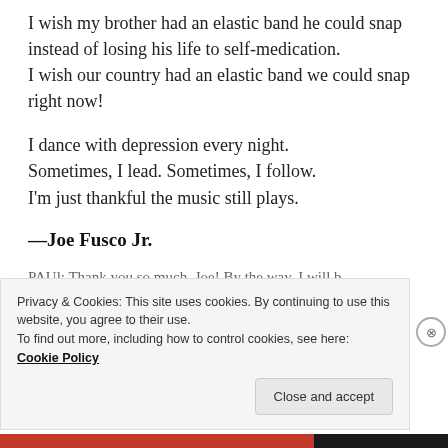I wish my brother had an elastic band he could snap instead of losing his life to self-medication. I wish our country had an elastic band we could snap right now!
I dance with depression every night. Sometimes, I lead. Sometimes, I follow. I'm just thankful the music still plays.
—Joe Fusco Jr.
PAUl: Thank you so much, Joe! By the way, I will b...
Privacy & Cookies: This site uses cookies. By continuing to use this website, you agree to their use. To find out more, including how to control cookies, see here: Cookie Policy
Close and accept